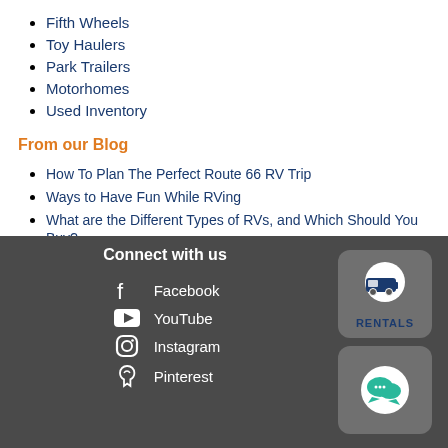Fifth Wheels
Toy Haulers
Park Trailers
Motorhomes
Used Inventory
From our Blog
How To Plan The Perfect Route 66 RV Trip
Ways to Have Fun While RVing
What are the Different Types of RVs, and Which Should You Buy?
Are Rockwood Trailers A Good Choice?
Why Get A Forest River RV?
Connect with us  Facebook  YouTube  Instagram  Pinterest  RENTALS  [chat icon]